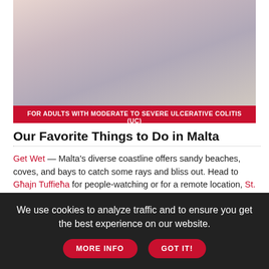[Figure (photo): People dining at a table, clinking glasses, with food in background. Ad image for a medication.]
FOR ADULTS WITH MODERATE TO SEVERE ULCERATIVE COLITIS (UC)
Our Favorite Things to Do in Malta
Get Wet — Malta's diverse coastline offers sandy beaches, coves, and bays to catch some rays and bliss out. Head to Għajn Tuffieħa for people-watching or for a remote location, St. Peter's Pool, tucked away on the island's southeast peninsula. For those with a more adventurous spirit, Malta's Dive Trail guides divers through the Azure Reef, Blue Hole, and Coral Gardens.
Culinary Convergence — Maltese cuisine tends to draw more influence from southern France rather than its closer Sicilian
We use cookies to analyze traffic and to ensure you get the best experience on our website. MORE INFO  GOT IT!